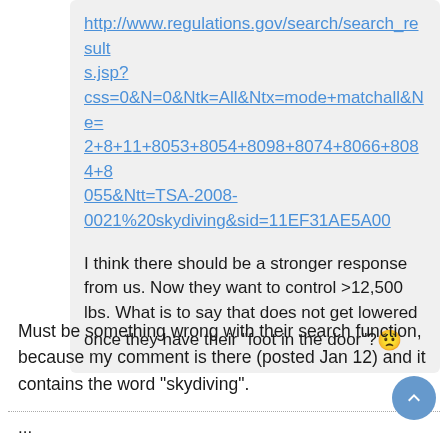http://www.regulations.gov/search/search_results.jsp?css=0&N=0&Ntk=All&Ntx=mode+matchall&Ne=2+8+11+8053+8054+8098+8074+8066+8084+8055&Ntt=TSA-2008-0021%20skydiving&sid=11EF31AE5A00
I think there should be a stronger response from us. Now they want to control >12,500 lbs. What is to say that does not get lowered once they have their "foot in the door"? 😟
Must be something wrong with their search function, because my comment is there (posted Jan 12) and it contains the word "skydiving".
...